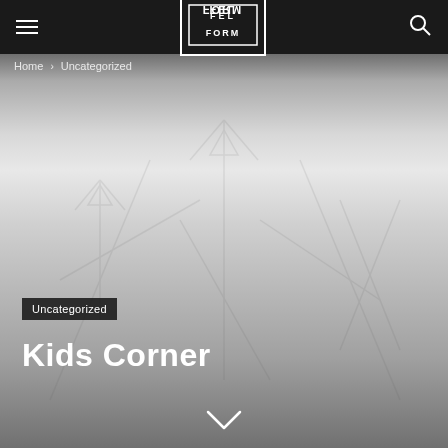[Figure (screenshot): Website screenshot showing a navigation bar with hamburger menu, logo, and search icon on dark background, with a hero image area containing geometric line art patterns in light gray, breadcrumb navigation, a category badge, and page title.]
Home › Uncategorized
Uncategorized
Kids Corner